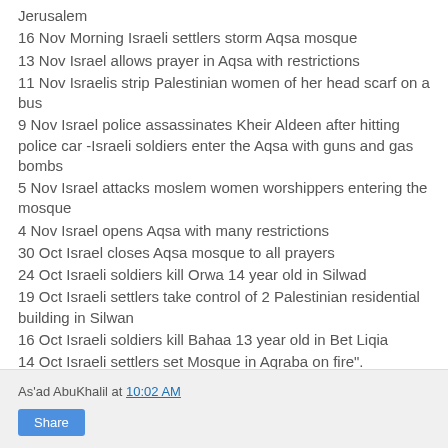Jerusalem
16 Nov Morning Israeli settlers storm Aqsa mosque
13 Nov Israel allows prayer in Aqsa with restrictions
11 Nov Israelis strip Palestinian women of her head scarf on a bus
9 Nov Israel police assassinates Kheir Aldeen after hitting police car -Israeli soldiers enter the Aqsa with guns and gas bombs
5 Nov Israel attacks moslem women worshippers entering the mosque
4 Nov Israel opens Aqsa with many restrictions
30 Oct Israel closes Aqsa mosque to all prayers
24 Oct Israeli soldiers kill Orwa 14 year old in Silwad
19 Oct Israeli settlers take control of 2 Palestinian residential building in Silwan
16 Oct Israeli soldiers kill Bahaa 13 year old in Bet Liqia
14 Oct Israeli settlers set Mosque in Aqraba on fire".
As'ad AbuKhalil at 10:02 AM